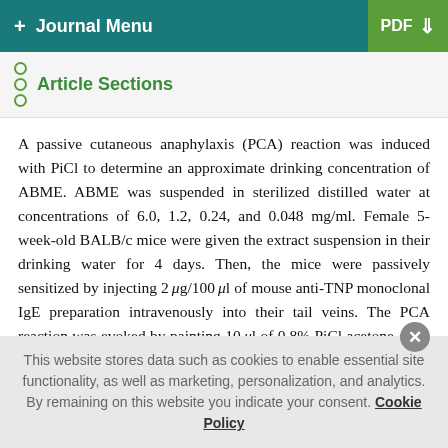+ Journal Menu | PDF ↓
Article Sections
A passive cutaneous anaphylaxis (PCA) reaction was induced with PiCl to determine an approximate drinking concentration of ABME. ABME was suspended in sterilized distilled water at concentrations of 6.0, 1.2, 0.24, and 0.048 mg/ml. Female 5-week-old BALB/c mice were given the extract suspension in their drinking water for 4 days. Then, the mice were passively sensitized by injecting 2 μg/100 μl of mouse anti-TNP monoclonal IgE preparation intravenously into their tail veins. The PCA reaction was evoked by painting 10 μl of 0.8% PiCl acetone-olive oil (1 : 1) solution onto the surface of an earlobe. Ear thickness was measured before and 2 h after the PiCl
This website stores data such as cookies to enable essential site functionality, as well as marketing, personalization, and analytics. By remaining on this website you indicate your consent. Cookie Policy